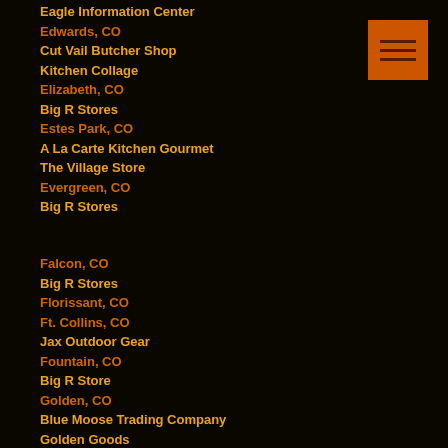Eagle Information Center
Edwards, CO
Cut Vail Butcher Shop
Kitchen Collage
Elizabeth, CO
Big R Stores
Estes Park, CO
A La Carte Kitchen Gourmet
The Village Store
Evergreen, CO
Big R Stores
Falcon, CO
Big R Stores
Florissant, CO
Ft. Collins, CO
Jax Outdoor Gear
Fountain, CO
Big R Store
Golden, CO
Blue Moose Trading Company
Golden Goods
Granby & Grand Lake, CO